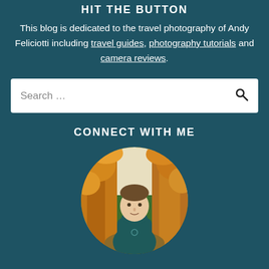HIT THE BUTTON
This blog is dedicated to the travel photography of Andy Feliciotti including travel guides, photography tutorials and camera reviews.
[Figure (screenshot): Search bar with placeholder text 'Search ...' and a search icon on the right]
CONNECT WITH ME
[Figure (photo): Circular profile photo of a young man in a teal hoodie standing in an autumn forest with orange and yellow leaves]